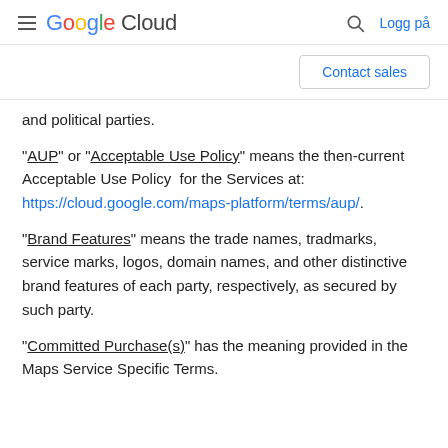Google Cloud — Logg på
Contact sales
and political parties.
"AUP" or "Acceptable Use Policy" means the then-current Acceptable Use Policy  for the Services at: https://cloud.google.com/maps-platform/terms/aup/.
"Brand Features" means the trade names, tradmarks, service marks, logos, domain names, and other distinctive brand features of each party, respectively, as secured by such party.
"Committed Purchase(s)" has the meaning provided in the Maps Service Specific Terms.